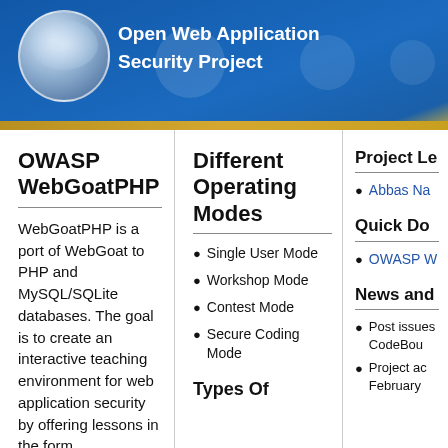[Figure (logo): OWASP logo with circular emblem and text 'Open Web Application Security Project' on blue banner background]
OWASP WebGoatPHP
WebGoatPHP is a port of WebGoat to PHP and MySQL/SQLite databases. The goal is to create an interactive teaching environment for web application security by offering lessons in the form
Different Operating Modes
Single User Mode
Workshop Mode
Contest Mode
Secure Coding Mode
Types Of
Project Le
Abbas Na
Quick Do
OWASP W
News and
Post issues CodeBou
Project ac February